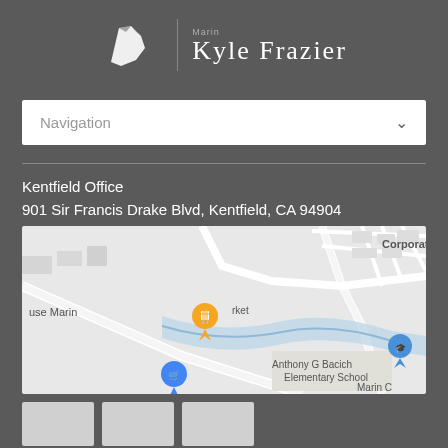[Figure (logo): Marin Kyle Frazier logo with stylized map icon and serif text]
Navigation
Kentfield Office
901 Sir Francis Drake Blvd, Kentfield, CA 94904
[Figure (map): Google Maps screenshot showing area around 901 Sir Francis Drake Blvd, Kentfield CA, with labels for Corporate, Louse Marin, Anthony G Bacich Elementary School, Marin C, rket, and orange restaurant pin]